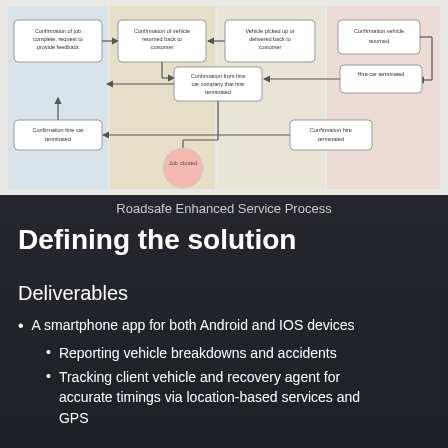[Figure (flowchart): Roadsafe Enhanced Service Process flowchart showing boxes for: Confirmation of job complete, request to provide feedback; Confirmation of vehicle returned to customer; Vehicle picked up or delivered back to customer; Confirmation vehicle returned; Hire car terminated; Confirmation from hire car company that hire terminated; Confirmation hire car terminated; Confirmation hire car terminated; with a circle labeled 'Job closed' at the bottom. Colored column sections: light blue, tan/salmon, light tan, light pink.]
Roadsafe Enhanced Service Process
Defining the solution
Deliverables
A smartphone app for both Android and IOS devices
Reporting vehicle breakdowns and accidents
Tracking client vehicle and recovery agent for accurate timings via location-based services and GPS